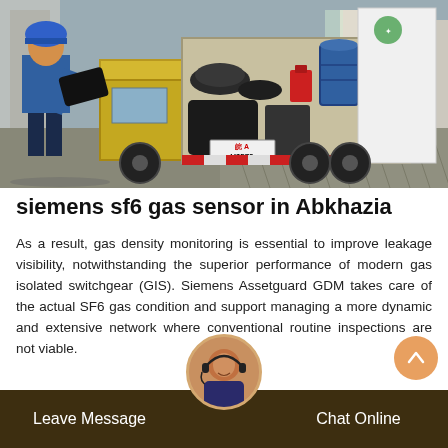[Figure (photo): A worker in blue uniform and helmet unloading equipment from a yellow service truck (license plate V2578) at an industrial site. Barrels and cables visible in the truck cargo area. A white signboard visible on the right side of the truck. Patterned pavement on the ground.]
siemens sf6 gas sensor in Abkhazia
As a result, gas density monitoring is essential to improve leakage visibility, notwithstanding the superior performance of modern gas isolated switchgear (GIS). Siemens Assetguard GDM takes care of the actual SF6 gas condition and support managing a more dynamic and extensive network where conventional routine inspections are not viable.
Leave Message   Chat Online